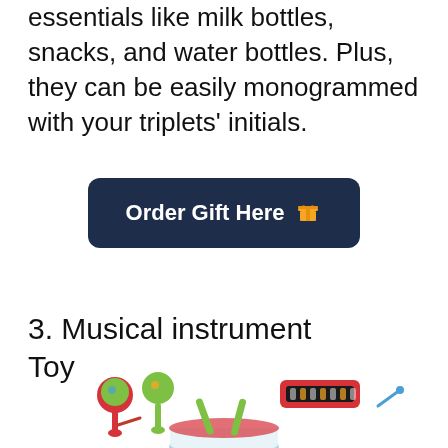essentials like milk bottles, snacks, and water bottles. Plus, they can be easily monogrammed with your triplets' initials.
Order Gift Here 🎁
3. Musical instrument Toy
[Figure (photo): Colorful children's musical instrument toy set including maracas, harmonica, tambourine, drum, and other small instruments in red, green, yellow, and blue colors.]